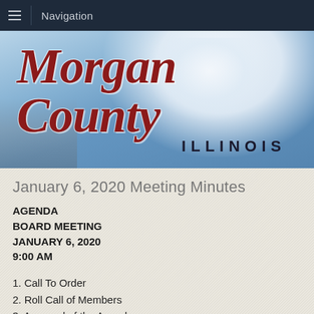Navigation
[Figure (illustration): Morgan County Illinois banner with script logo text over a blue sky with clouds background]
January 6, 2020 Meeting Minutes
AGENDA
BOARD MEETING
JANUARY 6, 2020
9:00 AM
1. Call To Order
2. Roll Call of Members
3. Approval of the Agenda
4. Consideration and Approval of December 23, 2019 Meeting...